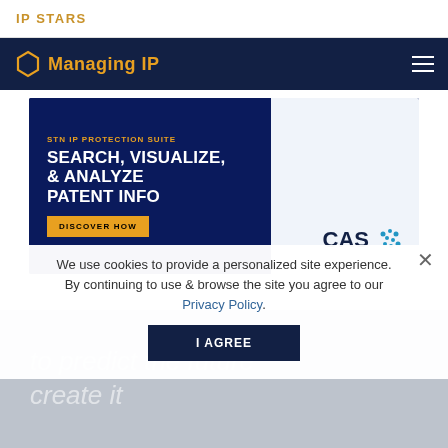IP STARS
[Figure (screenshot): Managing IP navigation bar with hexagon logo and hamburger menu on dark navy background]
[Figure (illustration): CAS STN IP Protection Suite advertisement banner: 'SEARCH, VISUALIZE, & ANALYZE PATENT INFO' with 'DISCOVER HOW' button and CAS logo]
We use cookies to provide a personalized site experience. By continuing to use & browse the site you agree to our Privacy Policy.
I AGREE
to predict the future create it